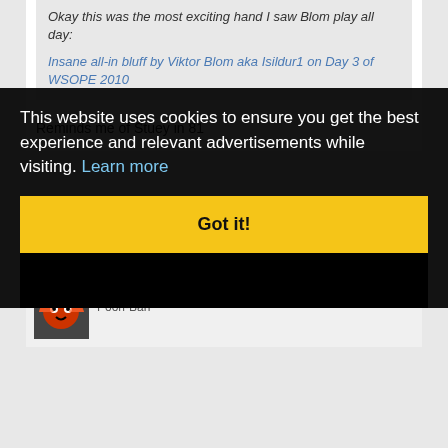Okay this was the most exciting hand I saw Blom play all day:
Insane all-in bluff by Viktor Blom aka Isildur1 on Day 3 of WSOPE 2010
Reminds me of Stuey in 81
09-27-2010, 12:11 AM   #1183
Fatal Checkraise
Pooh-Bah
This website uses cookies to ensure you get the best experience and relevant advertisements while visiting. Learn more
Got it!